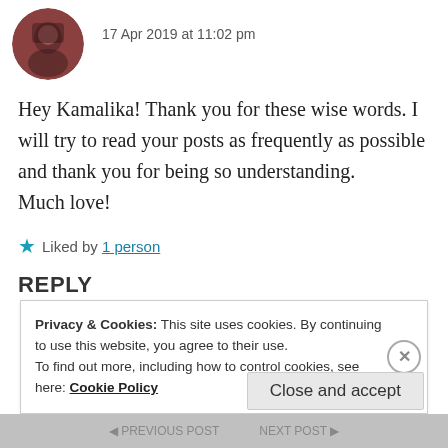[Figure (photo): Circular avatar image of a person with dark hair, reddish-brown toned photo]
17 Apr 2019 at 11:02 pm
Hey Kamalika! Thank you for these wise words. I will try to read your posts as frequently as possible and thank you for being so understanding.
Much love!
★ Liked by 1 person
REPLY
Privacy & Cookies: This site uses cookies. By continuing to use this website, you agree to their use.
To find out more, including how to control cookies, see here: Cookie Policy
Close and accept